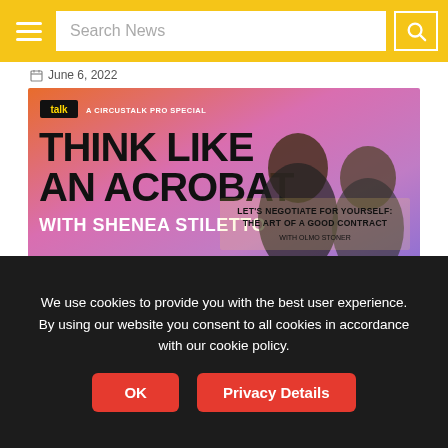Search News
June 6, 2022
[Figure (photo): Promotional banner for 'Think Like an Acrobat' – A CircusTalk Pro Special with Shenea Stiletto. Episode: Let's Negotiate For Yourself: The Art of a Good Contract with Olmo Stoner. Pink/purple/orange gradient background with two people pictured.]
PRO Exclusive: Think Like an Acrobat–Let's Negotiate For Yourself–The Art of a Good Contract
January 5, 2021
We use cookies to provide you with the best user experience. By using our website you consent to all cookies in accordance with our cookie policy.